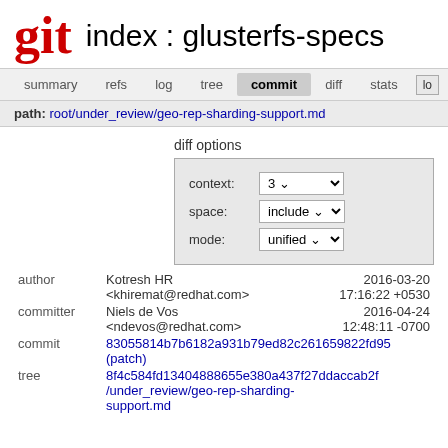git  index : glusterfs-specs
summary  refs  log  tree  commit  diff  stats  log
path: root/under_review/geo-rep-sharding-support.md
diff options
context: 3
space: include
mode: unified
| author | Kotresh HR | 2016-03-20 |
|  | <khiremat@redhat.com> | 17:16:22 +0530 |
| committer | Niels de Vos | 2016-04-24 |
|  | <ndevos@redhat.com> | 12:48:11 -0700 |
| commit | 83055814b7b6182a931b79ed82c261659822fd95 (patch) |  |
| tree | 8f4c584fd13404888655e380a437f27ddaccab2f /under_review/geo-rep-sharding-support.md |  |